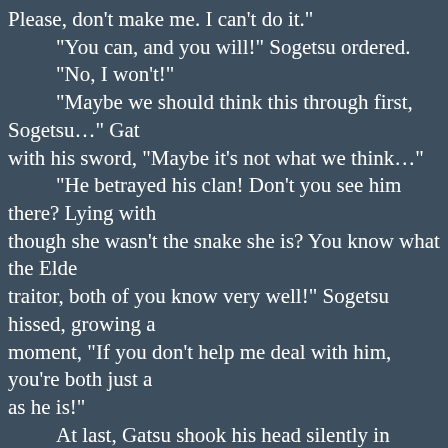Please, don't make me. I can't do it."
"You can, and you will!" Sogetsu ordered.
"No, I won't!"
"Maybe we should think this through first, Sogetsu..." Gat with his sword, "Maybe it's not what we think…"
"He betrayed his clan! Don't you see him there? Lying with though she wasn't the snake she is? You know what the Elde traitor, both of you know very well!" Sogetsu hissed, growing a moment, "If you don't help me deal with him, you're both just a as he is!"
At last, Gatsu shook his head silently in agreement, his de "Sogetsu is right. Kazuki is a traitor and we have to treat h personal feelings are. We have to kill him. I'm sorry, Hazuki."
"No!"
"Yes. No more talk. Kazuki and the Lin Kuei witch die, now right, bring up the middle, Hazuki." Sogetsu commanded.
"I'm not doing it, Sogetsu, you can't make me kill my own away.
Sogetsu grabbed her by the arm, roughly, pulling her forw boring into hers.
"Then, when Gatsu and I finish with him, you can join Kaz those that betray the Kazama, sister…" Sogetsu growled me he meant every word.
Both men began to silently creep towards the sleeping co surprised to find her feet doing the same.